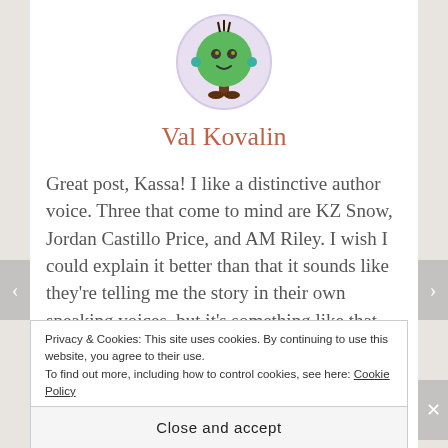[Figure (illustration): Circular avatar with a light purple/lavender border showing a cartoon green tree-like creature character with small arms, legs, and a face]
Val Kovalin
Great post, Kassa! I like a distinctive author voice. Three that come to mind are KZ Snow, Jordan Castillo Price, and AM Riley. I wish I could explain it better than that it sounds like they're telling me the story in their own speaking voices, but it's something like that. Also, all three have flashes of humor that come through no matter what's being written about, so it may also boil
Privacy & Cookies: This site uses cookies. By continuing to use this website, you agree to their use.
To find out more, including how to control cookies, see here: Cookie Policy
Close and accept